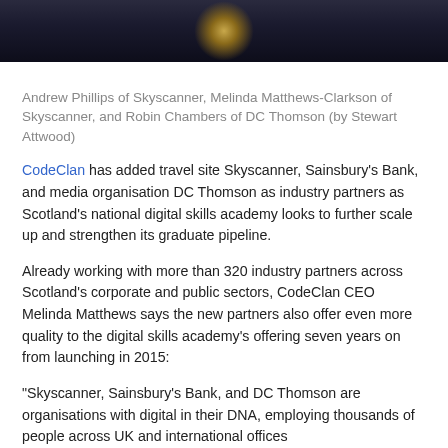[Figure (photo): Dark photo strip showing people at an event with a golden light/chandelier visible]
Andrew Phillips of Skyscanner, Melinda Matthews-Clarkson of Skyscanner, and Robin Chambers of DC Thomson (by Stewart Attwood)
CodeClan has added travel site Skyscanner, Sainsbury's Bank, and media organisation DC Thomson as industry partners as Scotland's national digital skills academy looks to further scale up and strengthen its graduate pipeline.
Already working with more than 320 industry partners across Scotland's corporate and public sectors, CodeClan CEO Melinda Matthews says the new partners also offer even more quality to the digital skills academy's offering seven years on from launching in 2015:
“Skyscanner, Sainsbury’s Bank, and DC Thomson are organisations with digital in their DNA, employing thousands of people across UK and international offices…